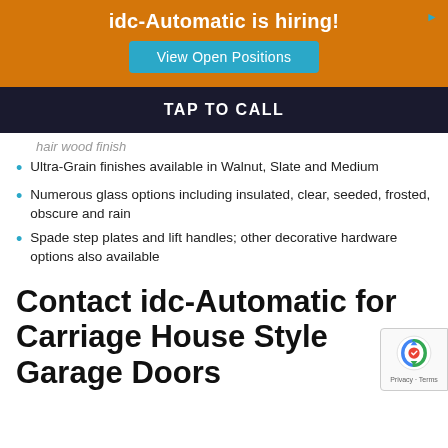idc-Automatic is hiring! View Open Positions
TAP TO CALL
Ultra-Grain finishes available in Walnut, Slate and Medium
Numerous glass options including insulated, clear, seeded, frosted, obscure and rain
Spade step plates and lift handles; other decorative hardware options also available
Contact idc-Automatic for Carriage House Style Garage Doors Today